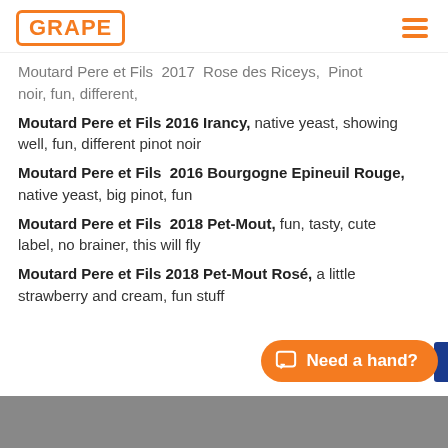GRAPE
Moutard Pere et Fils 2017 Rose des Riceys, Pinot noir, fun, different,
Moutard Pere et Fils 2016 Irancy, native yeast, showing well, fun, different pinot noir
Moutard Pere et Fils 2016 Bourgogne Epineuil Rouge, native yeast, big pinot, fun
Moutard Pere et Fils 2018 Pet-Mout, fun, tasty, cute label, no brainer, this will fly
Moutard Pere et Fils 2018 Pet-Mout Rosé, a little strawberry and cream, fun stuff